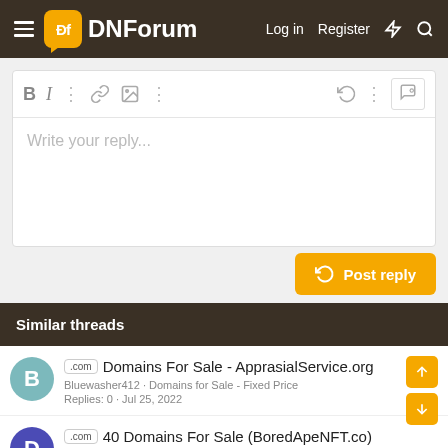DNForum | Log in | Register
[Figure (screenshot): Rich text editor toolbar with Bold, Italic, link, image, undo, and preview icons, with placeholder text 'Write your reply...']
Post reply
Similar threads
.com Domains For Sale - ApprasialService.org | Bluewasher412 · Domains for Sale - Fixed Price | Replies: 0 · Jul 25, 2022
.com 40 Domains For Sale (BoredApeNFT.co) | domain_seller1 · Domains for Sale - Fixed Price